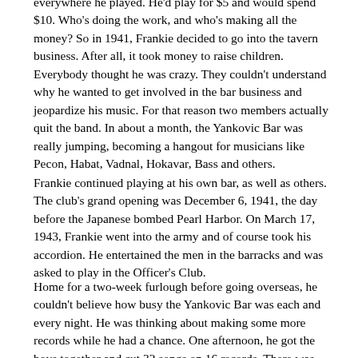everywhere he played. He'd play for $5 and would spend $10. Who's doing the work, and who's making all the money? So in 1941, Frankie decided to go into the tavern business. After all, it took money to raise children. Everybody thought he was crazy. They couldn't understand why he wanted to get involved in the bar business and jeopardize his music. For that reason two members actually quit the band. In about a month, the Yankovic Bar was really jumping, becoming a hangout for musicians like Pecon, Habat, Vadnal, Hokavar, Bass and others.
Frankie continued playing at his own bar, as well as others. The club's grand opening was December 6, 1941, the day before the Japanese bombed Pearl Harbor. On March 17, 1943, Frankie went into the army and of course took his accordion. He entertained the men in the barracks and was asked to play in the Officer's Club.
Home for a two-week furlough before going overseas, he couldn't believe how busy the Yankovic Bar was each and every night. He was thinking about making some more records while he had a chance. One afternoon, he got the boys together and cut 32 songs on 16 records. There was no rehearsal or time to fool around, and if they hit a wrong key they kept going. The records were instant hits.